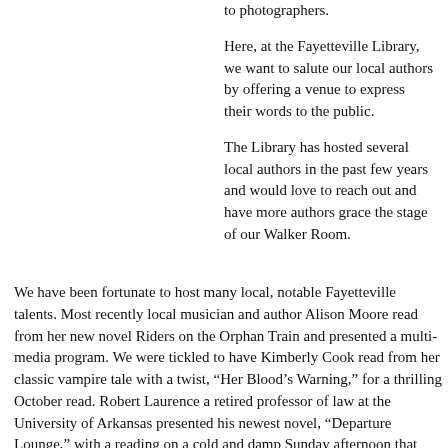to photographers.
Here, at the Fayetteville Library, we want to salute our local authors by offering a venue to express their words to the public.
The Library has hosted several local authors in the past few years and would love to reach out and have more authors grace the stage of our Walker Room.
We have been fortunate to host many local, notable Fayetteville talents. Most recently local musician and author Alison Moore read from her new novel Riders on the Orphan Train and presented a multi-media program. We were tickled to have Kimberly Cook read from her classic vampire tale with a twist, "Her Blood's Warning," for a thrilling October read. Robert Laurence a retired professor of law at the University of Arkansas presented his newest novel, "Departure Lounge," with a reading on a cold and damp Sunday afternoon that was enjoyed by many. A collective author event presented the Umoja Soul Writer's Group with local authors, Michael Lefcowitz, Ms. El-Jones and Rhonda Bell Holmes. Geoffrey